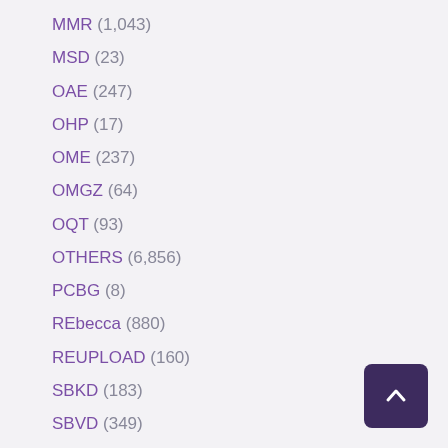MMR (1,043)
MSD (23)
OAE (247)
OHP (17)
OME (237)
OMGZ (64)
OQT (93)
OTHERS (6,856)
PCBG (8)
REbecca (880)
REUPLOAD (160)
SBKD (183)
SBVD (349)
SCDV (102)
SFLB (21)